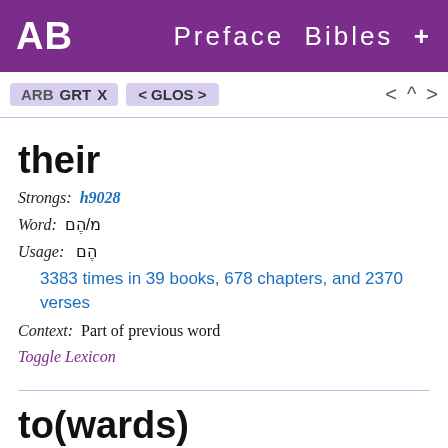AB  Preface  Bibles  +
ARB  GRT  X  < GLOS >  < ^ >
their
Strongs: h9028
Word: ם/הֶם
Usage: הֶם
3383 times in 39 books, 678 chapters, and 2370 verses
Context: Part of previous word
Toggle Lexicon
to(wards)
Strongs: h413